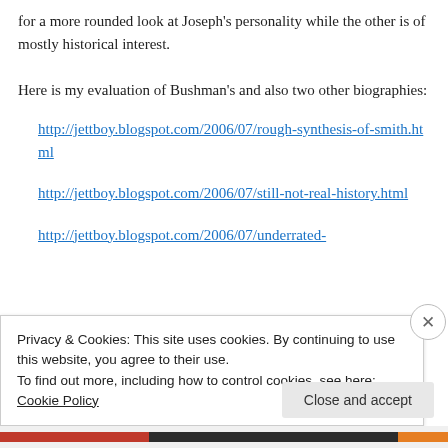for a more rounded look at Joseph's personality while the other is of mostly historical interest.
Here is my evaluation of Bushman's and also two other biographies:
http://jettboy.blogspot.com/2006/07/rough-synthesis-of-smith.html
http://jettboy.blogspot.com/2006/07/still-not-real-history.html
http://jettboy.blogspot.com/2006/07/underrated-
Privacy & Cookies: This site uses cookies. By continuing to use this website, you agree to their use.
To find out more, including how to control cookies, see here: Cookie Policy